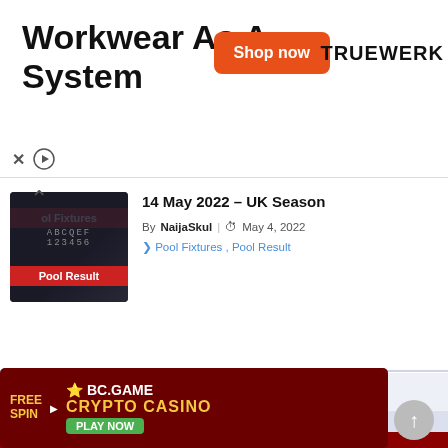[Figure (screenshot): Advertisement banner: 'Workwear As A System' with orange 'Shop now' button and TRUEWERK brand logo, plus close (X) and play controls]
[Figure (photo): Article thumbnail showing Pool Fixtures and Pool Result labels on dark background with chevron up control]
14 May 2022 – UK Season
By NaijaSkul | May 4, 2022
Pool Fixtures , Pool Result
About Us   Advertise With Us   Disclaimer
NaijaSkul © 2022 - All Rights Reserved
[Figure (screenshot): BC.GAME Crypto Casino advertisement with FREE SPIN wheel, PLAY NOW button, and cartoon cowboy hippo character]